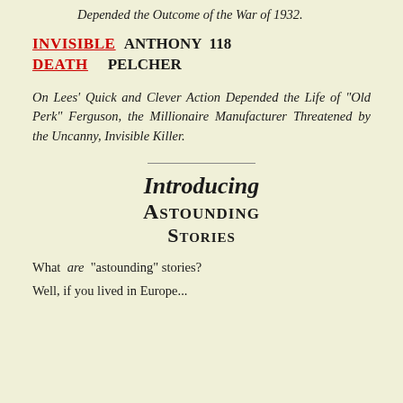Depended the Outcome of the War of 1932.
INVISIBLE DEATH  ANTHONY PELCHER  118
On Lees' Quick and Clever Action Depended the Life of "Old Perk" Ferguson, the Millionaire Manufacturer Threatened by the Uncanny, Invisible Killer.
Introducing Astounding Stories
What are "astounding" stories?
Well, if you lived in Europe...